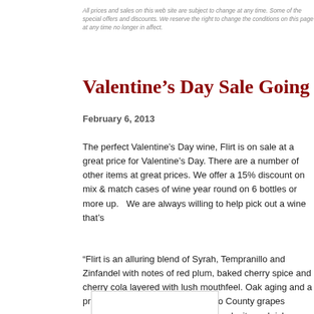All prices and sales on this web site are subject to change at any time. Some of the special offers and discounts. We reserve the right to change the conditions on this page at any time no longer in affect.
Valentine’s Day Sale Going on Now
February 6, 2013
The perfect Valentine’s Day wine, Flirt is on sale at a great price for Valentine’s Day. There are a number of other items at great prices. We offer a 15% discount on mix & match cases of wine year round on 6 bottles or more up.   We are always willing to help pick out a wine that’s
“Flirt is an alluring blend of Syrah, Tempranillo and Zinfandel with notes of red plum, baked cherry spice and cherry cola layered with lush mouthfeel. Oak aging and a precise blend of quality Mendocino County grapes provide the additional layers of complexity and rich flavor.” – Flirt
[Figure (photo): Top of a red wine bottle with a dark red foil cap, shown against a white background inside a bordered box]